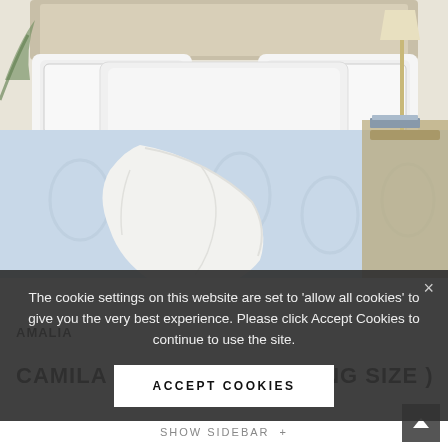[Figure (photo): Product photo of luxury bed with white and light blue bedding, pillows, and a white throw blanket draped over the bed. A nightstand with a lamp is visible in the background.]
The cookie settings on this website are set to 'allow all cookies' to give you the very best experience. Please click Accept Cookies to continue to use the site.
ACCEPT COOKIES
AMALIA
CAMILA DUVET COVER (KING SIZE )
SHOW SIDEBAR +